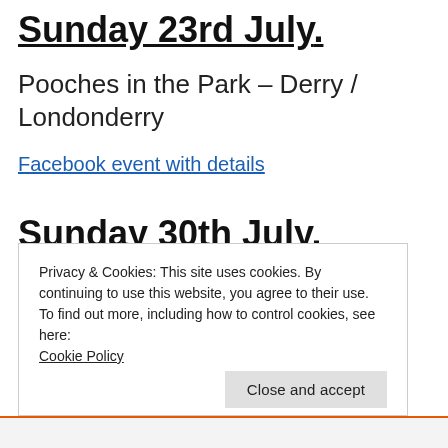Sunday 23rd July.
Pooches in the Park – Derry / Londonderry
Facebook event with details
Sunday 30th July.
The Dirty Onion Pooch Social
Privacy & Cookies: This site uses cookies. By continuing to use this website, you agree to their use.
To find out more, including how to control cookies, see here:
Cookie Policy
Close and accept